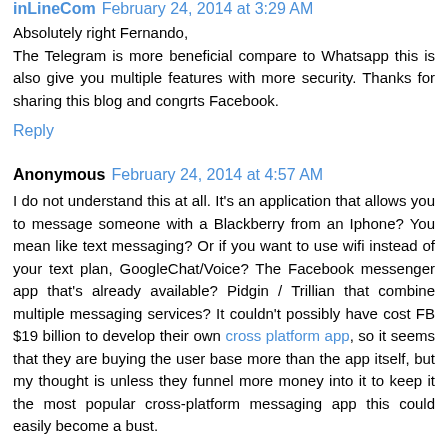inLineCom February 24, 2014 at 3:29 AM
Absolutely right Fernando, The Telegram is more beneficial compare to Whatsapp this is also give you multiple features with more security. Thanks for sharing this blog and congrts Facebook.
Reply
Anonymous February 24, 2014 at 4:57 AM
I do not understand this at all. It's an application that allows you to message someone with a Blackberry from an Iphone? You mean like text messaging? Or if you want to use wifi instead of your text plan, GoogleChat/Voice? The Facebook messenger app that's already available? Pidgin / Trillian that combine multiple messaging services? It couldn't possibly have cost FB $19 billion to develop their own cross platform app, so it seems that they are buying the user base more than the app itself, but my thought is unless they funnel more money into it to keep it the most popular cross-platform messaging app this could easily become a bust.